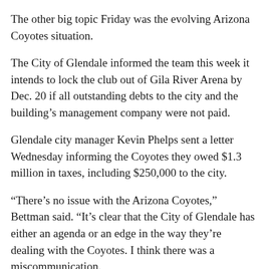The other big topic Friday was the evolving Arizona Coyotes situation.
The City of Glendale informed the team this week it intends to lock the club out of Gila River Arena by Dec. 20 if all outstanding debts to the city and the building’s management company were not paid.
Glendale city manager Kevin Phelps sent a letter Wednesday informing the Coyotes they owed $1.3 million in taxes, including $250,000 to the city.
“There’s no issue with the Arizona Coyotes,” Bettman said. “It’s clear that the City of Glendale has either an agenda or an edge in the way they’re dealing with the Coyotes. I think there was a miscommunication.
“All of the outstanding obligations had been brought current.”
When the Coyotes first moved from Winnipeg to the...